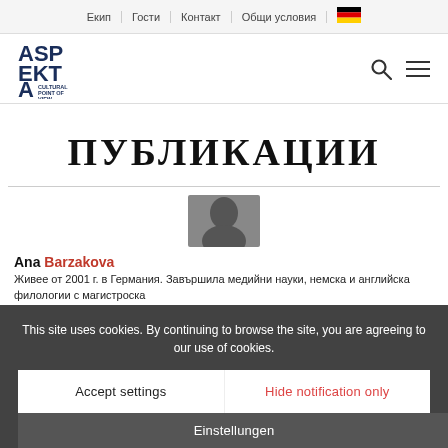Екип | Гости | Контакт | Общи условия | 🇩🇪
[Figure (logo): ASPEKTA Cultural Point of View logo in dark navy blue]
ПУБЛИКАЦИИ
[Figure (photo): Profile photo of Ana Barzakova, partially visible behind cookie overlay]
This site uses cookies. By continuing to browse the site, you are agreeing to our use of cookies.
Accept settings
Hide notification only
Einstellungen
Ana Barzakova
Живее от 2001 г. в Германия. Завършила медийни науки, немска и английска филологии с магистроска